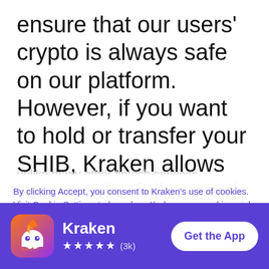ensure that our users' crypto is always safe on our platform. However, if you want to hold or transfer your SHIB, Kraken allows you to take full custody of your SHIB in the wallet of your choice,
unlike many other fintech services.
By clicking Accept, you consent to Kraken's use of cookies. Visit Cookie Settings to learn how Kraken uses cookies and to adjust your preferences.
Accept
Cookie settings
[Figure (logo): Kraken app icon — flame and ghost mascot with orange/purple gradient background]
Kraken ★★★★★ (3k) Get the App